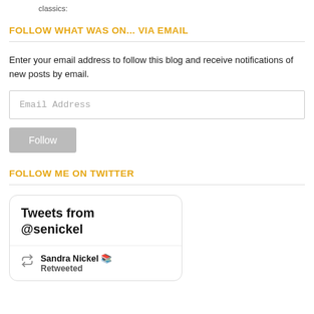classics:
FOLLOW WHAT WAS ON... VIA EMAIL
Enter your email address to follow this blog and receive notifications of new posts by email.
Email Address
Follow
FOLLOW ME ON TWITTER
[Figure (screenshot): Twitter widget box showing 'Tweets from @senickel' header and a retweet by Sandra Nickel with a books emoji.]